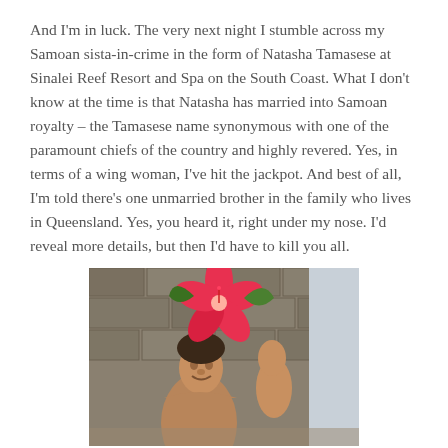And I'm in luck. The very next night I stumble across my Samoan sista-in-crime in the form of Natasha Tamasese at Sinalei Reef Resort and Spa on the South Coast. What I don't know at the time is that Natasha has married into Samoan royalty – the Tamasese name synonymous with one of the paramount chiefs of the country and highly revered. Yes, in terms of a wing woman, I've hit the jackpot. And best of all, I'm told there's one unmarried brother in the family who lives in Queensland. Yes, you heard it, right under my nose. I'd reveal more details, but then I'd have to kill you all.
[Figure (photo): A photograph showing carved wooden Samoan figures/statues with a large red hibiscus flower, set against a stone wall background.]